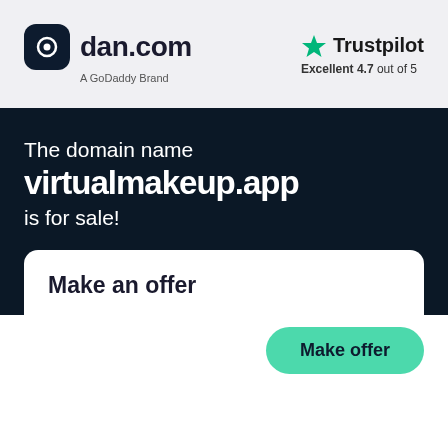[Figure (logo): dan.com logo with dark rounded square icon and text 'dan.com', subtitle 'A GoDaddy Brand']
[Figure (logo): Trustpilot logo with green star, text 'Trustpilot', subtitle 'Excellent 4.7 out of 5']
The domain name
virtualmakeup.app
is for sale!
Make an offer
Make offer